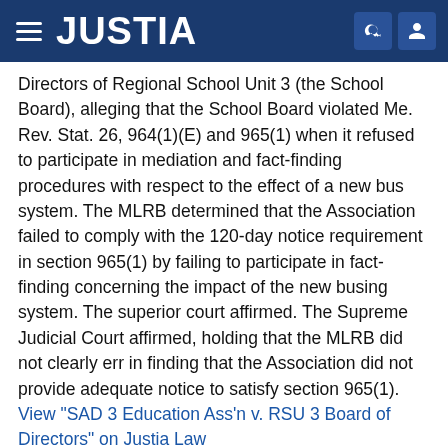JUSTIA
Directors of Regional School Unit 3 (the School Board), alleging that the School Board violated Me. Rev. Stat. 26, 964(1)(E) and 965(1) when it refused to participate in mediation and fact-finding procedures with respect to the effect of a new bus system. The MLRB determined that the Association failed to comply with the 120-day notice requirement in section 965(1) by failing to participate in fact-finding concerning the impact of the new busing system. The superior court affirmed. The Supreme Judicial Court affirmed, holding that the MLRB did not clearly err in finding that the Association did not provide adequate notice to satisfy section 965(1). View "SAD 3 Education Ass'n v. RSU 3 Board of Directors" on Justia Law
Posted in: Education Law, Government & Administrative Law, Maine Supreme Judicial Court